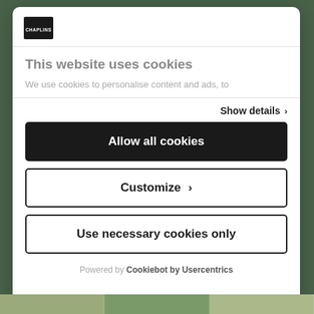[Figure (screenshot): Chaplins website cookie consent modal dialog overlay on a garden/outdoor website background]
This website uses cookies
We use cookies to personalise content and ads, to
Show details ›
Allow all cookies
Customize ›
Use necessary cookies only
Powered by Cookiebot by Usercentrics